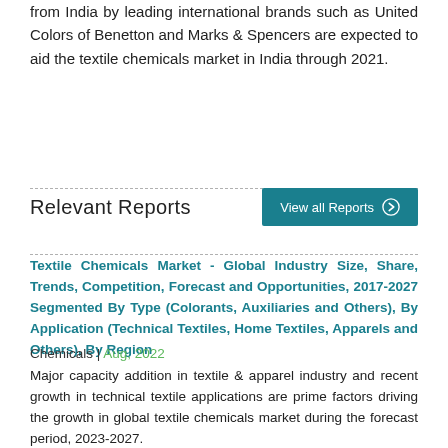from India by leading international brands such as United Colors of Benetton and Marks & Spencers are expected to aid the textile chemicals market in India through 2021.
Relevant Reports
View all Reports
Textile Chemicals Market - Global Industry Size, Share, Trends, Competition, Forecast and Opportunities, 2017-2027 Segmented By Type (Colorants, Auxiliaries and Others), By Application (Technical Textiles, Home Textiles, Apparels and Others), By Region
Chemicals | Aug, 2022
Major capacity addition in textile & apparel industry and recent growth in technical textile applications are prime factors driving the growth in global textile chemicals market during the forecast period, 2023-2027.